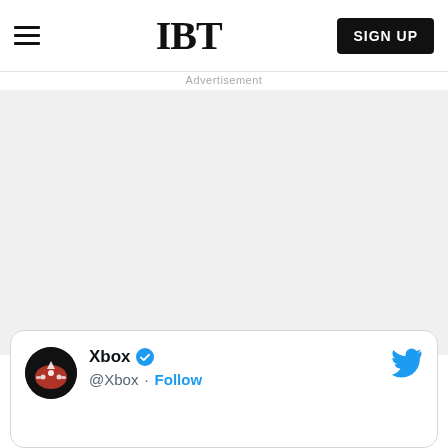IBT
Advertisement
[Figure (other): Advertisement placeholder area, light gray background]
[Figure (screenshot): Twitter/X embed card showing Xbox account: @Xbox with verified badge and Follow link, with Twitter bird icon top right, and Xbox avatar (dark circle with red and white gaming graphic)]